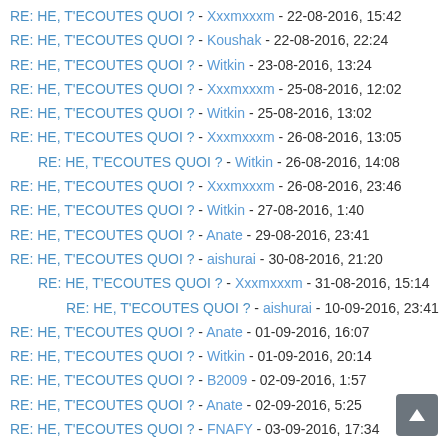RE: HE, T'ECOUTES QUOI ? - Xxxmxxxm - 22-08-2016, 15:42
RE: HE, T'ECOUTES QUOI ? - Koushak - 22-08-2016, 22:24
RE: HE, T'ECOUTES QUOI ? - Witkin - 23-08-2016, 13:24
RE: HE, T'ECOUTES QUOI ? - Xxxmxxxm - 25-08-2016, 12:02
RE: HE, T'ECOUTES QUOI ? - Witkin - 25-08-2016, 13:02
RE: HE, T'ECOUTES QUOI ? - Xxxmxxxm - 26-08-2016, 13:05
RE: HE, T'ECOUTES QUOI ? - Witkin - 26-08-2016, 14:08
RE: HE, T'ECOUTES QUOI ? - Xxxmxxxm - 26-08-2016, 23:46
RE: HE, T'ECOUTES QUOI ? - Witkin - 27-08-2016, 1:40
RE: HE, T'ECOUTES QUOI ? - Anate - 29-08-2016, 23:41
RE: HE, T'ECOUTES QUOI ? - aishurai - 30-08-2016, 21:20
RE: HE, T'ECOUTES QUOI ? - Xxxmxxxm - 31-08-2016, 15:14
RE: HE, T'ECOUTES QUOI ? - aishurai - 10-09-2016, 23:41
RE: HE, T'ECOUTES QUOI ? - Anate - 01-09-2016, 16:07
RE: HE, T'ECOUTES QUOI ? - Witkin - 01-09-2016, 20:14
RE: HE, T'ECOUTES QUOI ? - B2009 - 02-09-2016, 1:57
RE: HE, T'ECOUTES QUOI ? - Anate - 02-09-2016, 5:25
RE: HE, T'ECOUTES QUOI ? - FNAFY - 03-09-2016, 17:34
RE: HE, T'ECOUTES QUOI ? - Xxxmxxxm - 04-09-2016, 23:33
RE: HE, T'ECOUTES QUOI ? - Smoothiie - 05-09-2016, 3:31
RE: HE, T'ECOUTES QUOI ? - Anate - 05-09-2016, 5:17
RE: HE, T'ECOUTES QUOI ? - Witkin - 05-09-2016, 15:16